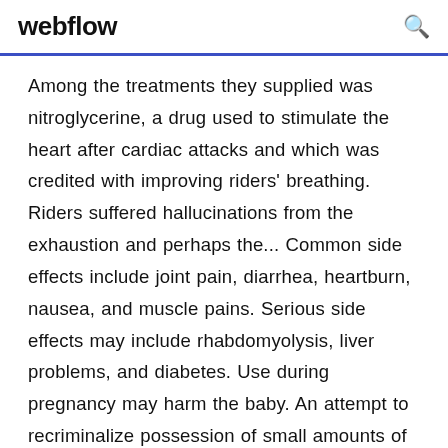webflow
Among the treatments they supplied was nitroglycerine, a drug used to stimulate the heart after cardiac attacks and which was credited with improving riders' breathing. Riders suffered hallucinations from the exhaustion and perhaps the... Common side effects include joint pain, diarrhea, heartburn, nausea, and muscle pains. Serious side effects may include rhabdomyolysis, liver problems, and diabetes. Use during pregnancy may harm the baby. An attempt to recriminalize possession of small amounts of cannabis was turned down by Oregon voters in 1997. Thrifty White Pharmacy (also known as White Drug and Thrifty Drug) is an American pharmacy chain